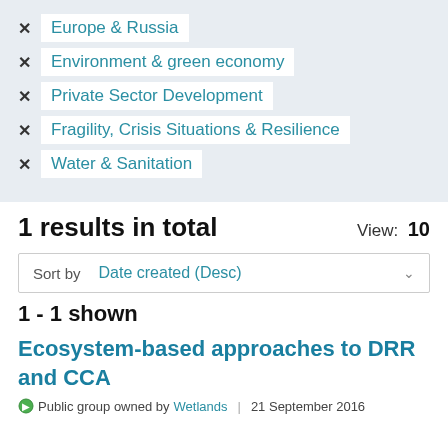✕ Europe & Russia
✕ Environment & green economy
✕ Private Sector Development
✕ Fragility, Crisis Situations & Resilience
✕ Water & Sanitation
1 results in total
View: 10
Sort by   Date created (Desc)
1 - 1 shown
Ecosystem-based approaches to DRR and CCA
Public group owned by Wetlands | 21 September 2016